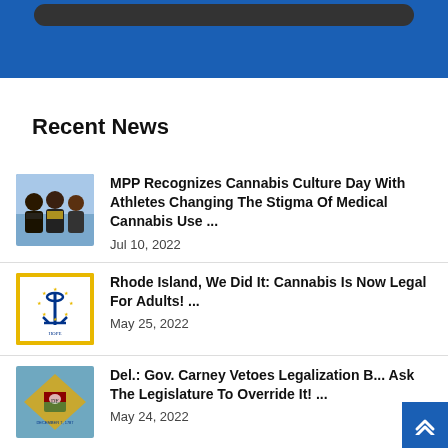[Figure (illustration): Blue banner at top of webpage with dark navigation bar]
Recent News
[Figure (photo): Group photo of people (athletes)]
MPP Recognizes Cannabis Culture Day With Athletes Changing The Stigma Of Medical Cannabis Use ...
Jul 10, 2022
[Figure (illustration): Rhode Island state flag with anchor and stars on white background with gold border]
Rhode Island, We Did It: Cannabis Is Now Legal For Adults! ...
May 25, 2022
[Figure (illustration): Delaware state flag with colonial figure on gold diamond]
Del.: Gov. Carney Vetoes Legalization B... Ask The Legislature To Override It! ...
May 24, 2022